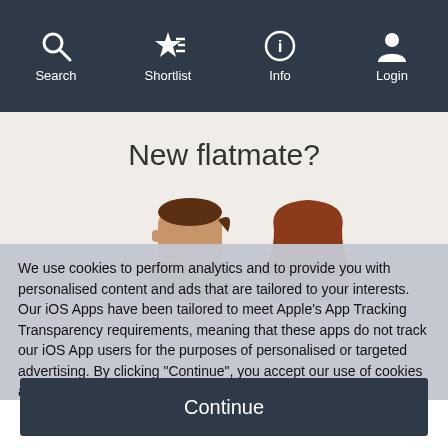Search | Shortlist | Info | Login
[Figure (illustration): App screenshot background showing 'New flatmate?' heading with two illustrated character heads — a brown-haired man and a red-haired woman]
We use cookies to perform analytics and to provide you with personalised content and ads that are tailored to your interests. Our iOS Apps have been tailored to meet Apple's App Tracking Transparency requirements, meaning that these apps do not track our iOS App users for the purposes of personalised or targeted advertising. By clicking "Continue", you accept our use of cookies as outlined in our Cookie Policy.
Continue